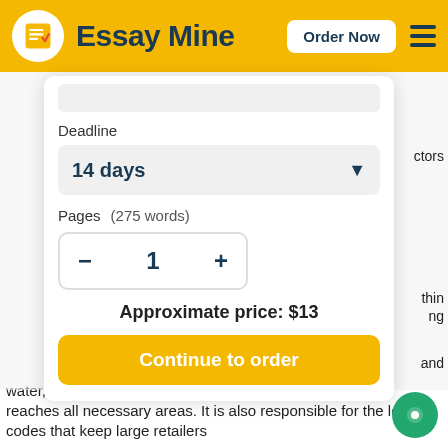Essay Mine  Order Now
Deadline
14 days
Pages  (275 words)
1
Approximate price: $13
Continue to order
ctors
thin
ng
and
water,
reaches all necessary areas. It is also responsible for the lo
codes that keep large retailers